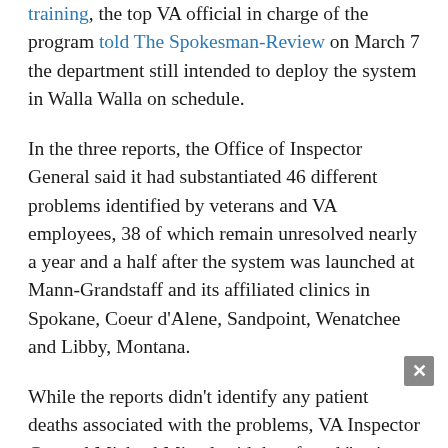training, the top VA official in charge of the program told The Spokesman-Review on March 7 the department still intended to deploy the system in Walla Walla on schedule.
In the three reports, the Office of Inspector General said it had substantiated 46 different problems identified by veterans and VA employees, 38 of which remain unresolved nearly a year and a half after the system was launched at Mann-Grandstaff and its affiliated clinics in Spokane, Coeur d’Alene, Sandpoint, Wenatchee and Libby, Montana.
While the reports didn’t identify any patient deaths associated with the problems, VA Inspector General Michael Missal said they found “serious deficiencies and failures” that “increased the risks to patient safety and ...